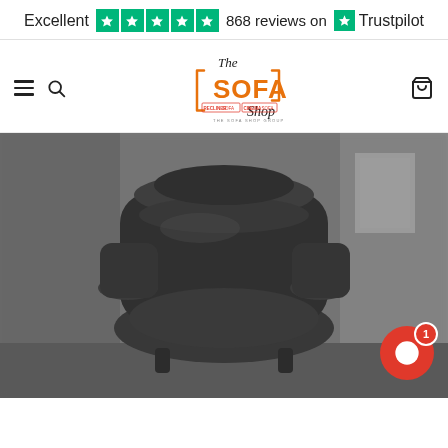Excellent ★★★★★ 868 reviews on Trustpilot
[Figure (logo): The Sofa Shop logo with Recliner Sofa and Cinema Sofa sub-brands. The Sofa Shop Group.]
[Figure (photo): Black leather recliner chair photographed in a room setting, slightly blurred/defocused.]